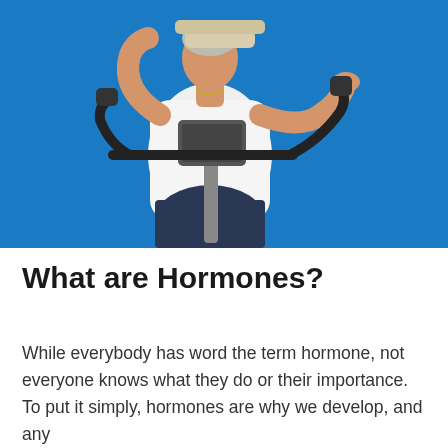[Figure (photo): A person wearing a white t-shirt with a towel around their neck using an exercise bike against a bright blue background.]
What are Hormones?
While everybody has word the term hormone, not everyone knows what they do or their importance. To put it simply, hormones are why we develop, and any